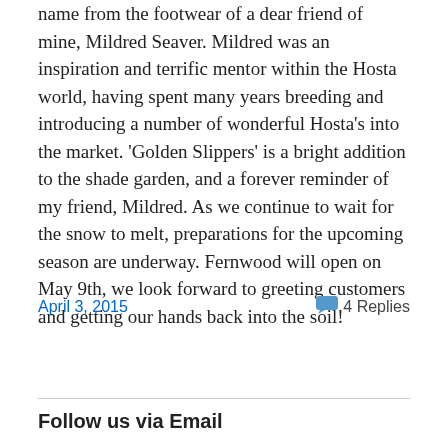name from the footwear of a dear friend of mine, Mildred Seaver. Mildred was an inspiration and terrific mentor within the Hosta world, having spent many years breeding and introducing a number of wonderful Hosta's into the market. 'Golden Slippers' is a bright addition to the shade garden, and a forever reminder of my friend, Mildred. As we continue to wait for the snow to melt, preparations for the upcoming season are underway. Fernwood will open on May 9th, we look forward to greeting customers and getting our hands back into the soil!
April 3, 2015
4 Replies
Follow us via Email